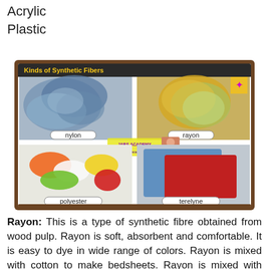Acrylic
Plastic
[Figure (photo): A composite image titled 'Kinds of Synthetic Fibers' showing four panels: nylon (blue/grey fiber roving), rayon (gold/green yarn), polyester (colorful fiber clumps), and terelyne (blue and red folded fabric sheets), set against a brown textured background.]
Rayon: This is a type of synthetic fibre obtained from wood pulp. Rayon is soft, absorbent and comfortable. It is easy to dye in wide range of colors. Rayon is mixed with cotton to make bedsheets. Rayon is mixed with wool to make carpet.
[Figure (photo): An image labeled 'Rayon' showing what appears to be a white fabric or fiber material against a brown textured background.]